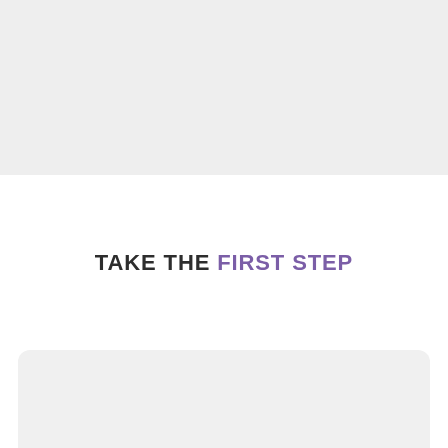[Figure (other): Gray background block occupying the top portion of the page]
TAKE THE FIRST STEP
[Figure (other): Rounded rectangle card with light gray background at the bottom of the page]